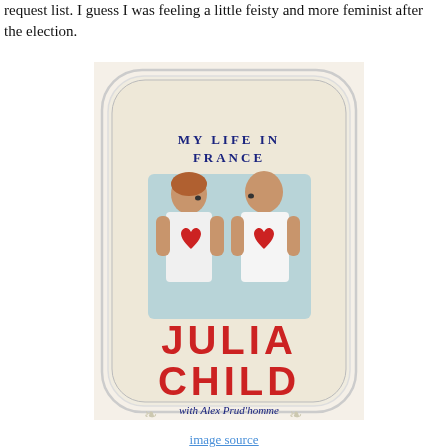request list. I guess I was feeling a little feisty and more feminist after the election.
[Figure (photo): Book cover of 'My Life in France' by Julia Child with Alex Prud'homme. Cover shows a photo of two people (a woman and a man in white shirts) facing each other, each with a red heart overlaid on their chest. Title 'MY LIFE IN FRANCE' in blue letters at top, 'JULIA CHILD' in large red letters, 'with Alex Prud'homme' in script below.]
image source